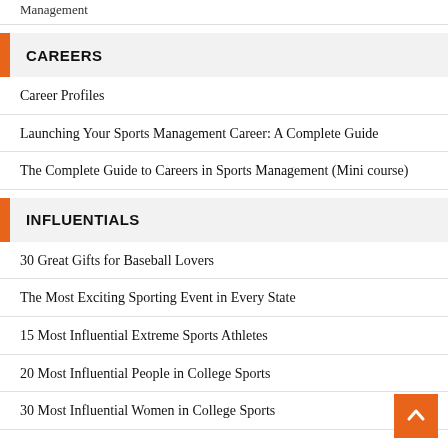Management
CAREERS
Career Profiles
Launching Your Sports Management Career: A Complete Guide
The Complete Guide to Careers in Sports Management (Mini course)
INFLUENTIALS
30 Great Gifts for Baseball Lovers
The Most Exciting Sporting Event in Every State
15 Most Influential Extreme Sports Athletes
20 Most Influential People in College Sports
30 Most Influential Women in College Sports